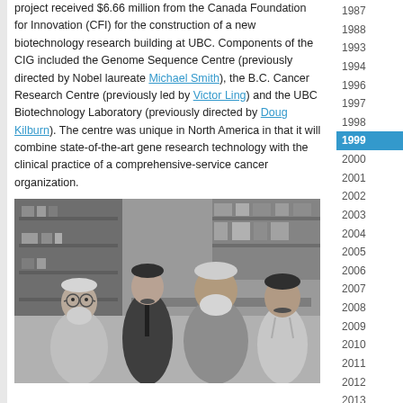project received $6.66 million from the Canada Foundation for Innovation (CFI) for the construction of a new biotechnology research building at UBC. Components of the CIG included the Genome Sequence Centre (previously directed by Nobel laureate Michael Smith), the B.C. Cancer Research Centre (previously led by Victor Ling) and the UBC Biotechnology Laboratory (previously directed by Doug Kilburn). The centre was unique in North America in that it will combine state-of-the-art gene research technology with the clinical practice of a comprehensive-service cancer organization.
[Figure (photo): Black and white photograph of four men standing together in a laboratory setting with shelves of supplies in the background.]
1987
1988
1993
1994
1996
1997
1998
1999
2000
2001
2002
2003
2004
2005
2006
2007
2008
2009
2010
2011
2012
2013